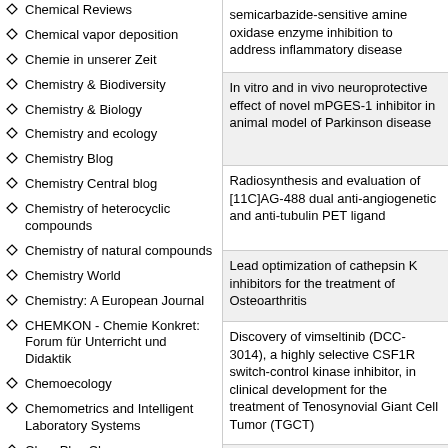Chemical Reviews
Chemical vapor deposition
Chemie in unserer Zeit
Chemistry & Biodiversity
Chemistry & Biology
Chemistry and ecology
Chemistry Blog
Chemistry Central blog
Chemistry of heterocyclic compounds
Chemistry of natural compounds
Chemistry World
Chemistry: A European Journal
CHEMKON - Chemie Konkret: Forum für Unterricht und Didaktik
Chemoecology
Chemometrics and Intelligent Laboratory Systems
ChemPhysChem
ChemSusChem
Chinese Chemical Letters
Chinese Journal of Analytical Chemistry
semicarbazide-sensitive amine oxidase enzyme inhibition to address inflammatory disease
In vitro and in vivo neuroprotective effect of novel mPGES-1 inhibitor in animal model of Parkinson disease
Radiosynthesis and evaluation of [11C]AG-488 dual anti-angiogenetic and anti-tubulin PET ligand
Lead optimization of cathepsin K inhibitors for the treatment of Osteoarthritis
Discovery of vimseltinib (DCC-3014), a highly selective CSF1R switch-control kinase inhibitor, in clinical development for the treatment of Tenosynovial Giant Cell Tumor (TGCT)
Discovery of acyl ureas as